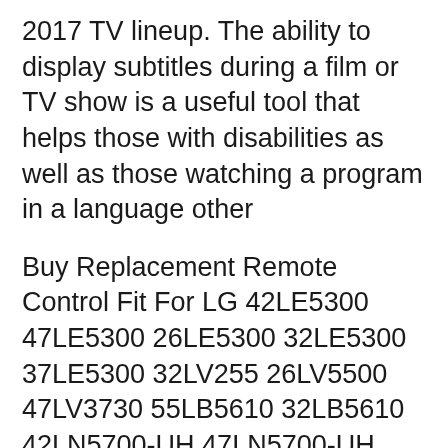2017 TV lineup. The ability to display subtitles during a film or TV show is a useful tool that helps those with disabilities as well as those watching a program in a language other
Buy Replacement Remote Control Fit For LG 42LE5300 47LE5300 26LE5300 32LE5300 37LE5300 32LV255 26LV5500 47LV3730 55LB5610 32LB5610 42LN5700-UH 47LN5700-UH 50LN5700-UH Find great deals on eBay for lg 47ln5700-uh. Shop with confidence.
2013-12-31B B· Smart TV LG 42LN5700 Falla de reinicio Ulises LG TV Stuck on startup screen- Repair Mini Review Smart TV LG 42LN5700 uh-uh...